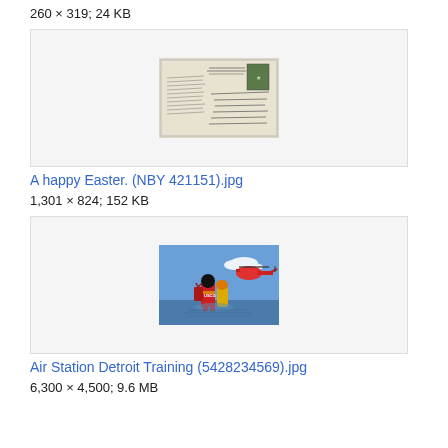260 × 319; 24 KB
[Figure (photo): Thumbnail of a postcard showing handwritten text with a stamp, old-style correspondence]
A happy Easter. (NBY 421151).jpg
1,301 × 824; 152 KB
[Figure (photo): Thumbnail of rescue personnel in red suits on water with a red helicopter in the background, Air Station Detroit Training]
Air Station Detroit Training (5428234569).jpg
6,300 × 4,500; 9.6 MB